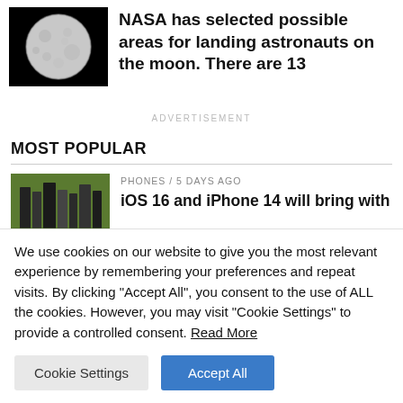[Figure (photo): Thumbnail photo of the moon against black background]
NASA has selected possible areas for landing astronauts on the moon. There are 13
ADVERTISEMENT
MOST POPULAR
[Figure (photo): Thumbnail photo showing books or phones on green background]
PHONES / 5 days ago
iOS 16 and iPhone 14 will bring with
We use cookies on our website to give you the most relevant experience by remembering your preferences and repeat visits. By clicking "Accept All", you consent to the use of ALL the cookies. However, you may visit "Cookie Settings" to provide a controlled consent. Read More